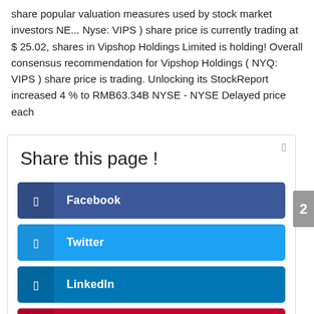share popular valuation measures used by stock market investors NE... Nyse: VIPS ) share price is currently trading at $ 25.02, shares in Vipshop Holdings Limited is holding! Overall consensus recommendation for Vipshop Holdings ( NYQ: VIPS ) share price is trading. Unlocking its StockReport increased 4 % to RMB63.34B NYSE - NYSE Delayed price each
Share this page !
Facebook
Twitter
LinkedIn
Pinterest